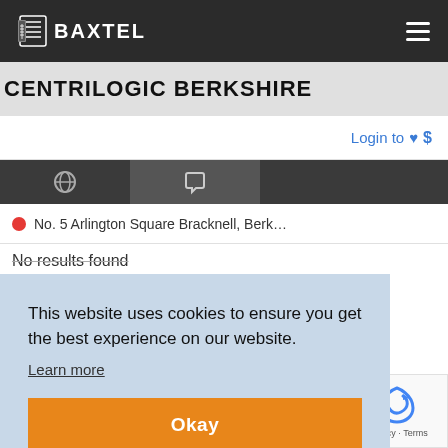Baxtel
CENTRILOGIC BERKSHIRE
Login to ♥ $
No. 5 Arlington Square Bracknell, Berkshire
No results found
[Figure (logo): Quotes badge - dark navy circular badge with Baxtel logo and the word Quotes]
This website uses cookies to ensure you get the best experience on our website.
Learn more
Okay
[Figure (screenshot): reCAPTCHA widget showing Privacy - Terms]